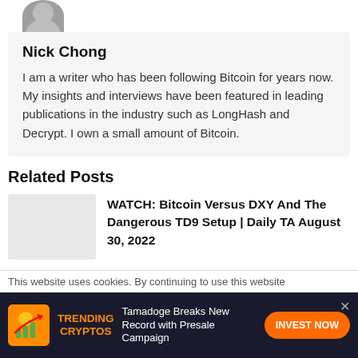[Figure (photo): Author avatar photo of Nick Chong, partially visible at top]
Nick Chong
I am a writer who has been following Bitcoin for years now. My insights and interviews have been featured in leading publications in the industry such as LongHash and Decrypt. I own a small amount of Bitcoin.
Related Posts
[Figure (photo): Thumbnail image placeholder for related post]
WATCH: Bitcoin Versus DXY And The Dangerous TD9 Setup | Daily TA August 30, 2022
This website uses cookies. By continuing to use this website
TRENDING CRYPTOS  Tamadoge Breaks New Record with Presale Campaign  INVEST NOW